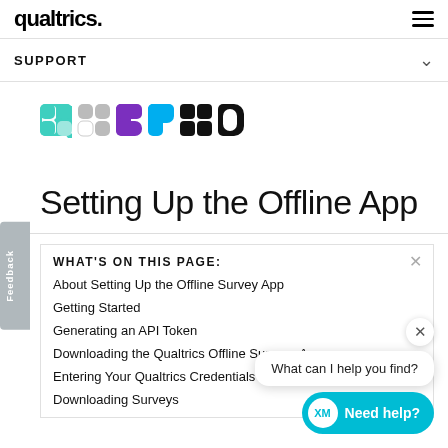qualtrics. [navigation]
SUPPORT
[Figure (logo): Qualtrics product icon suite: five colored square logo icons in teal, gray, purple, cyan, black/white, and black]
Setting Up the Offline App
WHAT'S ON THIS PAGE:
About Setting Up the Offline Survey App
Getting Started
Generating an API Token
Downloading the Qualtrics Offline Surveys App
Entering Your Qualtrics Credentials
Downloading Surveys